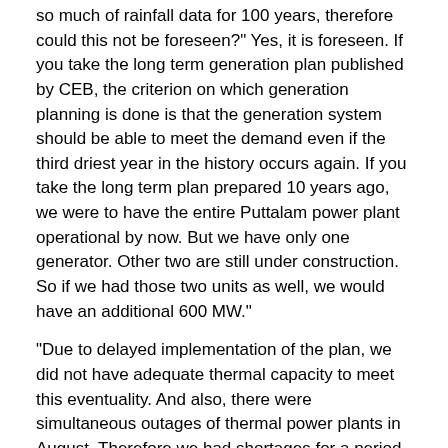so much of rainfall data for 100 years, therefore could this not be foreseen?" Yes, it is foreseen. If you take the long term generation plan published by CEB, the criterion on which generation planning is done is that the generation system should be able to meet the demand even if the third driest year in the history occurs again. If you take the long term plan prepared 10 years ago, we were to have the entire Puttalam power plant operational by now. But we have only one generator. Other two are still under construction. So if we had those two units as well, we would have an additional 600 MW."
"Due to delayed implementation of the plan, we did not have adequate thermal capacity to meet this eventuality. And also, there were simultaneous outages of thermal power plants in August. Therefore we had shortages for a period of about three weeks. So if the plan was implemented on time, we would not have any difficulty at all."
You have been continuously speaking about a similar situation occurring on the proposed coal power plant in Sampur.
"Well, our next crisis will be in 2017. In fact, electricity crises are easier to predict than human actions, because at least we have